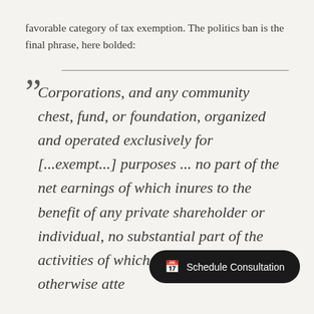favorable category of tax exemption. The politics ban is the final phrase, here bolded:
Corporations, and any community chest, fund, or foundation, organized and operated exclusively for [...exempt...] purposes ... no part of the net earnings of which inures to the benefit of any private shareholder or individual, no substantial part of the activities of which is carrying on or otherwise atte[mpting],